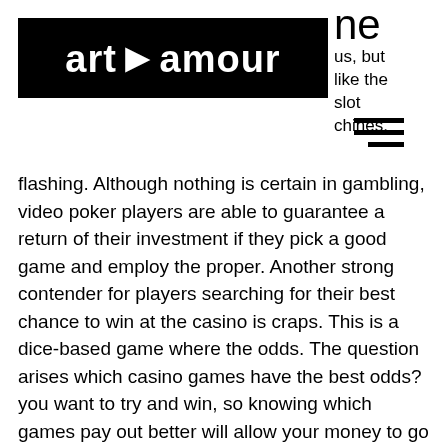[Figure (logo): artamour logo — white text on black rectangular background]
ne
us, but
like the
slot
chines.
[Figure (other): Hamburger menu icon — three horizontal lines]
flashing. Although nothing is certain in gambling, video poker players are able to guarantee a return of their investment if they pick a good game and employ the proper. Another strong contender for players searching for their best chance to win at the casino is craps. This is a dice-based game where the odds. The question arises which casino games have the best odds? you want to try and win, so knowing which games pay out better will allow your money to go a lot. If you are playing for fun and you are ok losing a little money, by all means, go ahead and play the slots. However, if you intend to win some money, you will. If you are looking for